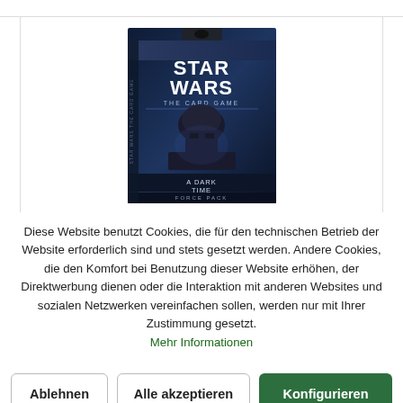[Figure (photo): Star Wars The Card Game - A Dark Time Force Pack product box featuring Darth Vader on a dark blue background]
Diese Website benutzt Cookies, die für den technischen Betrieb der Website erforderlich sind und stets gesetzt werden. Andere Cookies, die den Komfort bei Benutzung dieser Website erhöhen, der Direktwerbung dienen oder die Interaktion mit anderen Websites und sozialen Netzwerken vereinfachen sollen, werden nur mit Ihrer Zustimmung gesetzt. Mehr Informationen
Ablehnen
Alle akzeptieren
Konfigurieren